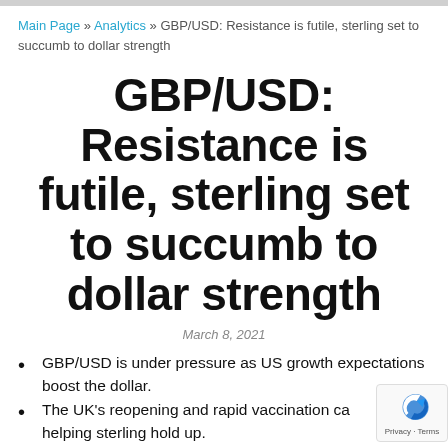Main Page » Analytics » GBP/USD: Resistance is futile, sterling set to succumb to dollar strength
GBP/USD: Resistance is futile, sterling set to succumb to dollar strength
March 8, 2021
GBP/USD is under pressure as US growth expectations boost the dollar.
The UK's reopening and rapid vaccination campaign are helping sterling hold up.
Monday's four-hour chart is showing that bears are